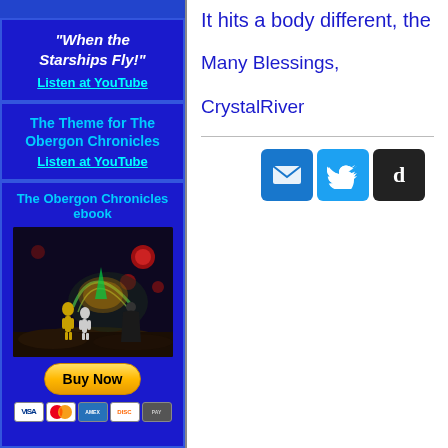"When the Starships Fly!"
Listen at YouTube
The Theme for The Obergon Chronicles
Listen at YouTube
The Obergon Chronicles ebook
[Figure (illustration): Fantasy/sci-fi ebook cover showing alien humanoid figures, a large dome structure, and cosmic elements with red orbs in a dark landscape]
Buy Now
It hits a body different, the
Many Blessings,
CrystalRiver
[Figure (infographic): Social share buttons: email (envelope icon, blue), Twitter (bird icon, blue), and a dark button with letter d]